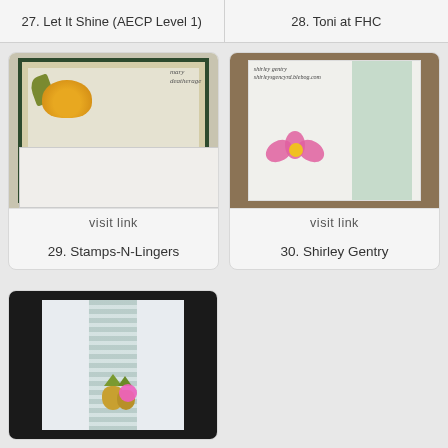27. Let It Shine (AECP Level 1)
28. Toni at FHC
[Figure (photo): Handmade stamp card with yellow flowers, doily, lace border, and envelope; watermark reads 'mary deatherage']
visit link
29. Stamps-N-Lingers
[Figure (photo): Handmade card with pink daisy flower on white card with green textured stripe, wood background; watermark reads 'shirley gentry']
visit link
30. Shirley Gentry
[Figure (photo): Handmade card with pineapple die-cuts and pink circle on light blue striped background, mounted on black mat]